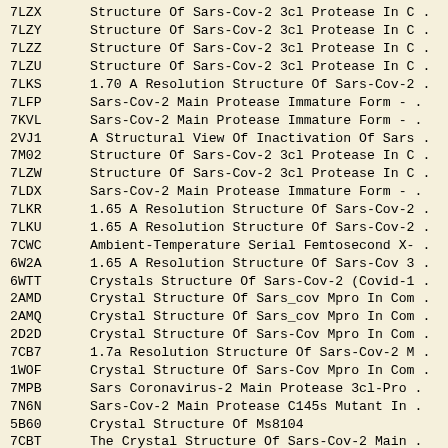| Code | Description |
| --- | --- |
| 7LZX | Structure Of Sars-Cov-2 3cl Protease In C . |
| 7LZY | Structure Of Sars-Cov-2 3cl Protease In C . |
| 7LZZ | Structure Of Sars-Cov-2 3cl Protease In C . |
| 7LZU | Structure Of Sars-Cov-2 3cl Protease In C . |
| 7LKS | 1.70 A Resolution Structure Of Sars-Cov-2 . |
| 7LFP | Sars-Cov-2 Main Protease Immature Form - . |
| 7KVL | Sars-Cov-2 Main Protease Immature Form - . |
| 2VJ1 | A Structural View Of Inactivation Of Sars . |
| 7M02 | Structure Of Sars-Cov-2 3cl Protease In C . |
| 7LZW | Structure Of Sars-Cov-2 3cl Protease In C . |
| 7LDX | Sars-Cov-2 Main Protease Immature Form - . |
| 7LKR | 1.65 A Resolution Structure Of Sars-Cov-2 . |
| 7LKU | 1.65 A Resolution Structure Of Sars-Cov-2 . |
| 7CWC | Ambient-Temperature Serial Femtosecond X- . |
| 6W2A | 1.65 A Resolution Structure Of Sars-Cov 3 . |
| 6WTT | Crystals Structure Of Sars-Cov-2 (Covid-1 . |
| 2AMD | Crystal Structure Of Sars_cov Mpro In Com . |
| 2AMQ | Crystal Structure Of Sars_cov Mpro In Com . |
| 2D2D | Crystal Structure Of Sars-Cov Mpro In Com . |
| 7CB7 | 1.7a Resolution Structure Of Sars-Cov-2 M . |
| 1WOF | Crystal Structure Of Sars-Cov Mpro In Com . |
| 7MPB | Sars Coronavirus-2 Main Protease 3cl-Pro . |
| 7N6N | Sars-Cov-2 Main Protease C145s Mutant In . |
| 5B60 | Crystal Structure Of Ms8104 |
| 7CBT | The Crystal Structure Of Sars-Cov-2 Main . |
| 2QCY | Crystal Structure Of A Monomeric Form Of . |
| 3M3T | Sars-Cov Main Protease Monomeric Arg298al . |
| 4HI3 | Crystal Structure Of Dimeric R298a Mutant . |